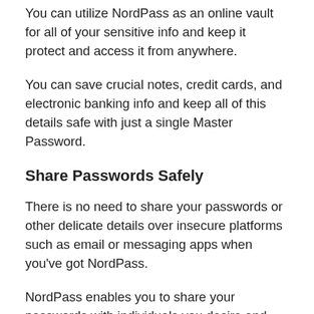You can utilize NordPass as an online vault for all of your sensitive info and keep it protect and access it from anywhere.
You can save crucial notes, credit cards, and electronic banking info and keep all of this details safe with just a single Master Password.
Share Passwords Safely
There is no need to share your passwords or other delicate details over insecure platforms such as email or messaging apps when you've got NordPass.
NordPass enables you to share your passwords with individuals you desire and that too, without any danger of security.